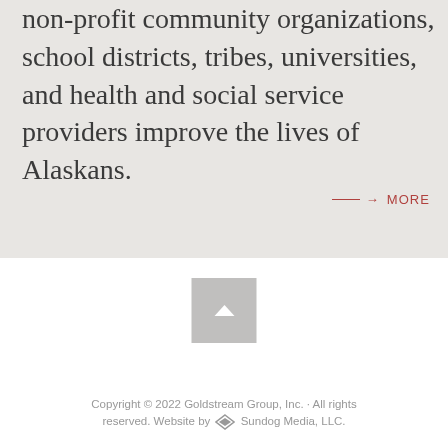non-profit community organizations, school districts, tribes, universities, and health and social service providers improve the lives of Alaskans.
→ MORE
[Figure (other): Gray square button with upward-pointing chevron (back to top button)]
Copyright © 2022 Goldstream Group, Inc. · All rights reserved. Website by ◆◇ Sundog Media, LLC.